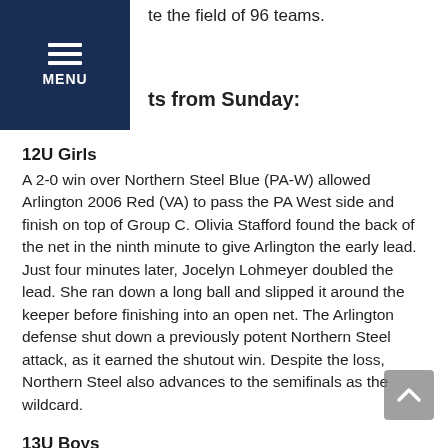te the field of 96 teams.
MENU | ts from Sunday:
12U Girls
A 2-0 win over Northern Steel Blue (PA-W) allowed Arlington 2006 Red (VA) to pass the PA West side and finish on top of Group C. Olivia Stafford found the back of the net in the ninth minute to give Arlington the early lead. Just four minutes later, Jocelyn Lohmeyer doubled the lead. She ran down a long ball and slipped it around the keeper before finishing into an open net. The Arlington defense shut down a previously potent Northern Steel attack, as it earned the shutout win. Despite the loss, Northern Steel also advances to the semifinals as the wildcard.
13U Boys
After tying in their matchup on the first day of play, Ukrainian National 2005 Black (PA-E) and Baltimore Celtic Elite (MD) entered Sunday neck and neck in Group A. Each side displayed strong efforts on both ends of the field, as Ukrainian National earned a 4-0 victory and Celtic came away with a 6-0 win. Thanks to a slight edge in its